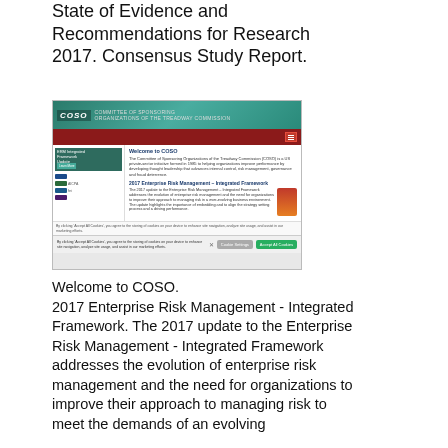State of Evidence and Recommendations for Research 2017. Consensus Study Report.
[Figure (screenshot): Screenshot of the COSO website showing the Welcome to COSO section and the 2017 Enterprise Risk Management - Integrated Framework announcement, with a cookie consent bar at the bottom.]
Welcome to COSO. 2017 Enterprise Risk Management - Integrated Framework. The 2017 update to the Enterprise Risk Management - Integrated Framework addresses the evolution of enterprise risk management and the need for organizations to improve their approach to managing risk to meet the demands of an evolving business environment. The update highlights the importance of embedding and to align the strategy setting process and a driving performance.